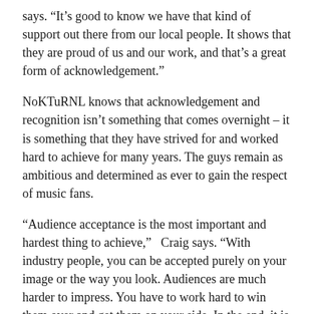says. “It’s good to know we have that kind of support out there from our local people. It shows that they are proud of us and our work, and that’s a great form of acknowledgement.”
NoKTuRNL knows that acknowledgement and recognition isn’t something that comes overnight – it is something that they have strived for and worked hard to achieve for many years. The guys remain as ambitious and determined as ever to gain the respect of music fans.
“Audience acceptance is the most important and hardest thing to achieve,”  Craig says. “With industry people, you can be accepted purely on your image or the way you look. Audiences are much harder to impress. You have to work hard to win them over and get them on your side. In the end, it is only the audience that matters.”
Over the years, NoKTuRNL has worked hard to rearrange the expectations and attitudes of audiences before winning them over.